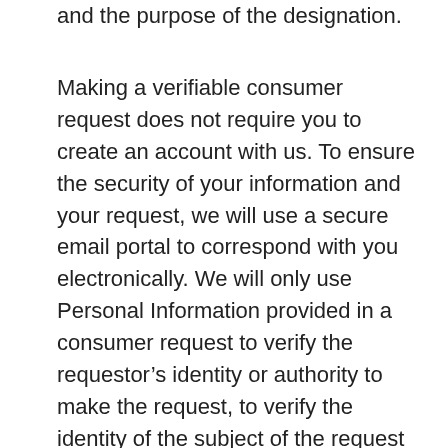and the purpose of the designation.
Making a verifiable consumer request does not require you to create an account with us. To ensure the security of your information and your request, we will use a secure email portal to correspond with you electronically. We will only use Personal Information provided in a consumer request to verify the requestor’s identity or authority to make the request, to verify the identity of the subject of the request (if a different individual), to fulfill the request, if possible, and to ensure our compliance with and fulfill our obligations under CCPA and other applicable laws.